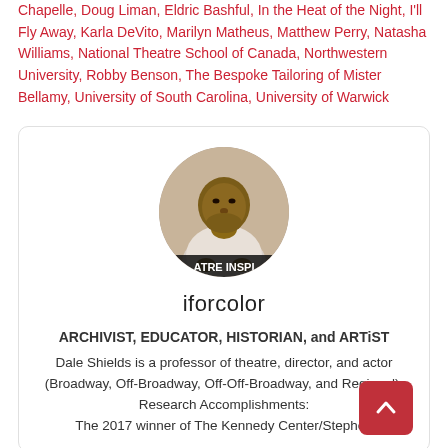Chapelle, Doug Liman, Eldric Bashful, In the Heat of the Night, I'll Fly Away, Karla DeVito, Marilyn Matheus, Matthew Perry, Natasha Williams, National Theatre School of Canada, Northwestern University, Robby Benson, The Bespoke Tailoring of Mister Bellamy, University of South Carolina, University of Warwick
[Figure (photo): Circular profile photo of Dale Shields, a man in a white shirt, with text overlay reading 'ATRE INSPI' at the bottom of the circle.]
iforcolor
ARCHIVIST, EDUCATOR, HISTORIAN, and ARTiST
Dale Shields is a professor of theatre, director, and actor (Broadway, Off-Broadway, Off-Off-Broadway, and Regional).
Research Accomplishments:
The 2017 winner of The Kennedy Center/Stephen